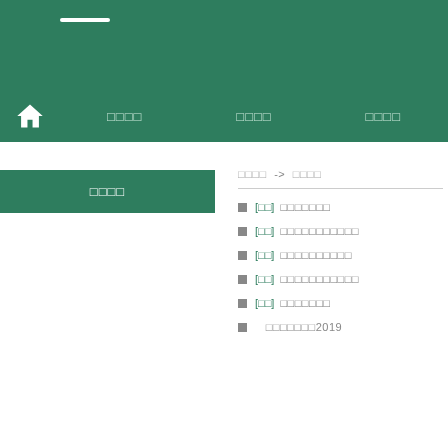Navigation header with home icon and menu items
□□□□
□□□□ -> □□□□
[□□] □□□□□□□
[□□] □□□□□□□□□□□
[□□] □□□□□□□□□□
[□□] □□□□□□□□□□□
[□□] □□□□□□□
□□□□□□□2019